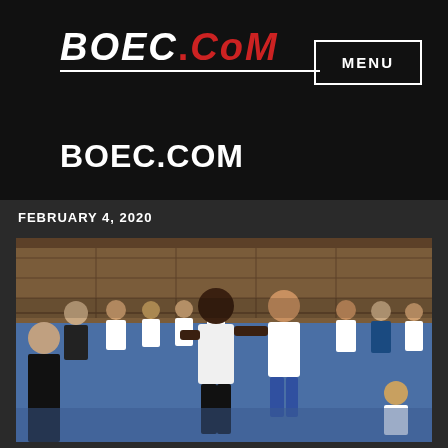[Figure (logo): BOEC.COM logo in white and red italic bold text with white underline]
MENU
BOEC.COM
FEBRUARY 4, 2020
[Figure (photo): Group of fighters in a gym/sports hall on a blue mat. A large black man in white t-shirt and black shorts appears to be instructing or demonstrating to a group of fighters in white t-shirts and boxing/kickboxing gear.]